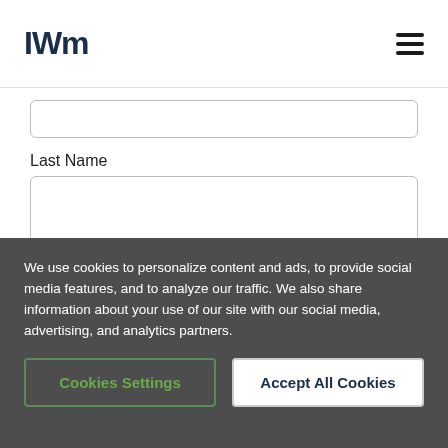IWM
Last Name
Email *
We use cookies to personalize content and ads, to provide social media features, and to analyze our traffic. We also share information about your use of our site with our social media, advertising, and analytics partners.
Cookies Settings
Accept All Cookies